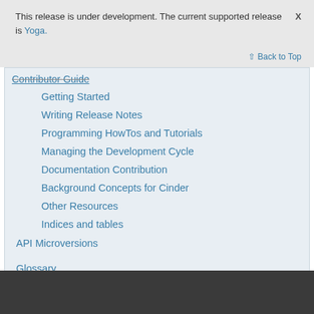This release is under development. The current supported release is Yoga.
Back to Top
Contributor Guide
Getting Started
Writing Release Notes
Programming HowTos and Tutorials
Managing the Development Cycle
Documentation Contribution
Background Concepts for Cinder
Other Resources
Indices and tables
API Microversions
Glossary